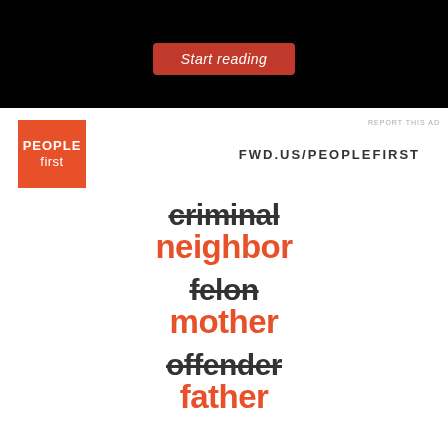[Figure (screenshot): Black banner ad with a red 'Start reading' button]
REPORT THIS AD
[Figure (logo): People First logo - orange square with PEOPLE FIRST text, next to FWD.US/PEOPLEFIRST]
criminal / neighbor
felon / mother
offender / father